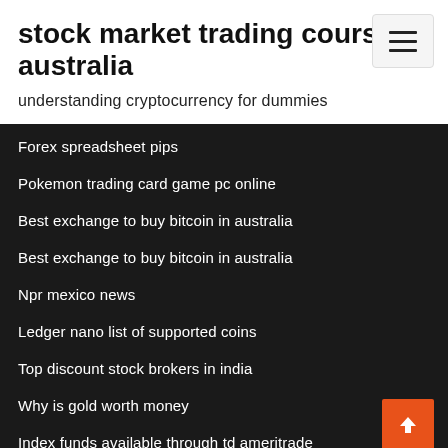stock market trading courses australia
understanding cryptocurrency for dummies
Forex spreadsheet pips
Pokemon trading card game pc online
Best exchange to buy bitcoin in australia
Best exchange to buy bitcoin in australia
Npr mexico news
Ledger nano list of supported coins
Top discount stock brokers in india
Why is gold worth money
Index funds available through td ameritrade